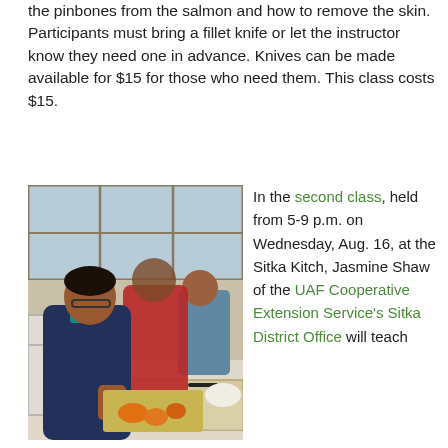the pinbones from the salmon and how to remove the skin. Participants must bring a fillet knife or let the instructor know they need one in advance. Knives can be made available for $15 for those who need them. This class costs $15.
[Figure (photo): A person in a navy hoodie cutting food on a cutting board at a table, with two other people in the background near windows in what appears to be a community kitchen.]
In the second class, held from 5-9 p.m. on Wednesday, Aug. 16, at the Sitka Kitch, Jasmine Shaw of the UAF Cooperative Extension Service's Sitka District Office will teach